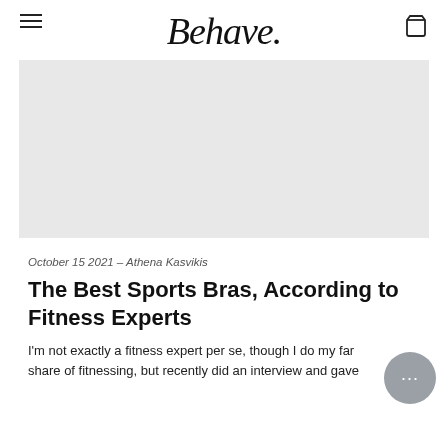Behave.
[Figure (photo): Light grey placeholder image for article hero photo]
October 15 2021 – Athena Kasvikis
The Best Sports Bras, According to Fitness Experts
I'm not exactly a fitness expert per se, though I do my far share of fitnessing, but recently did an interview and gave